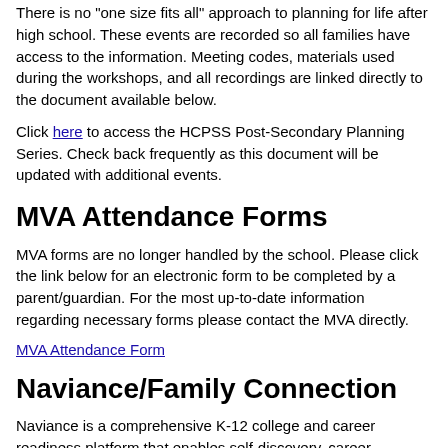There is no "one size fits all" approach to planning for life after high school. These events are recorded so all families have access to the information. Meeting codes, materials used during the workshops, and all recordings are linked directly to the document available below.
Click here to access the HCPSS Post-Secondary Planning Series. Check back frequently as this document will be updated with additional events.
MVA Attendance Forms
MVA forms are no longer handled by the school. Please click the link below for an electronic form to be completed by a parent/guardian. For the most up-to-date information regarding necessary forms please contact the MVA directly.
MVA Attendance Form
Naviance/Family Connection
Naviance is a comprehensive K-12 college and career readiness platform that enables self-discovery, career